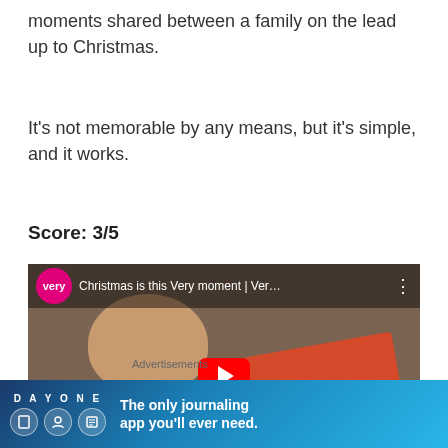moments shared between a family on the lead up to Christmas.
It's not memorable by any means, but it's simple, and it works.
Score: 3/5
[Figure (screenshot): YouTube video thumbnail for 'Christmas is this Very moment | Ver...' with Very brand logo (pink circle), a child peeking over a cardboard box, a red play button, and a close/X button overlay.]
Advertisements
[Figure (screenshot): Advertisement banner for DAY ONE journaling app with text 'The only journaling app you'll ever need.' on a blue gradient background with icon illustrations.]